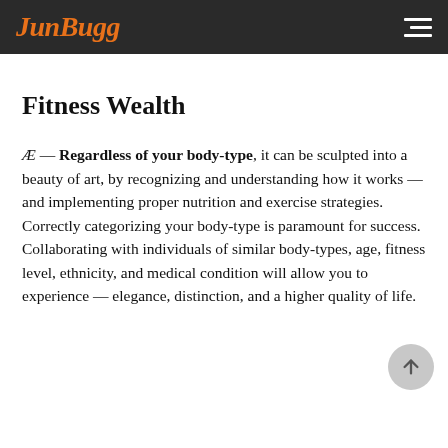JunBugg
Fitness Wealth
Æ — Regardless of your body-type, it can be sculpted into a beauty of art, by recognizing and understanding how it works — and implementing proper nutrition and exercise strategies. Correctly categorizing your body-type is paramount for success. Collaborating with individuals of similar body-types, age, fitness level, ethnicity, and medical condition will allow you to experience — elegance, distinction, and a higher quality of life.